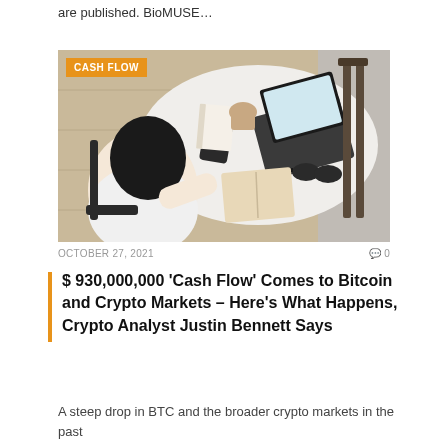are published. BioMUSE...
[Figure (photo): Overhead view of a woman with long dark hair sitting at a white oval table with a laptop, phone, notebook, open book, sunglasses, and a cup. Orange badge reading CASH FLOW in top left corner.]
OCTOBER 27, 2021   0
$ 930,000,000 ‘Cash Flow’ Comes to Bitcoin and Crypto Markets – Here’s What Happens, Crypto Analyst Justin Bennett Says
A steep drop in BTC and the broader crypto markets in the past